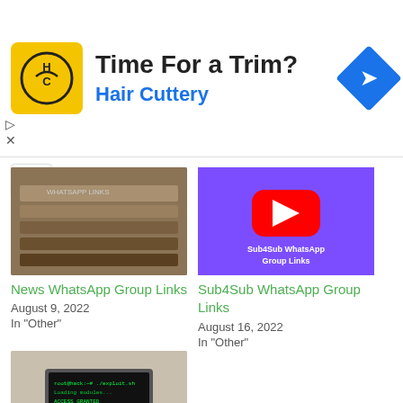[Figure (infographic): Hair Cuttery advertisement banner with logo, tagline 'Time For a Trim?' and brand name 'Hair Cuttery']
[Figure (photo): Stack of newspapers and magazines - News WhatsApp Group Links thumbnail]
News WhatsApp Group Links
August 9, 2022
In "Other"
[Figure (screenshot): Purple YouTube-style thumbnail with red play button and text 'Sub4Sub WhatsApp Group Links']
Sub4Sub WhatsApp Group Links
August 16, 2022
In "Other"
[Figure (photo): Overhead view of person typing on laptop with hacking/code screen and black mouse - Web Developer WhatsApp Group Links thumbnail]
Web Developer WhatsApp Group Links
August 5, 2022
In "Study"